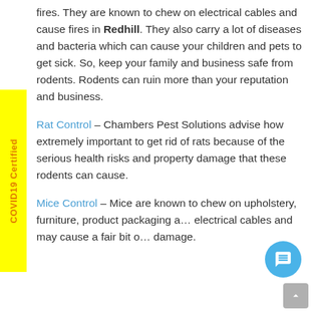fires. They are known to chew on electrical cables and cause fires in Redhill. They also carry a lot of diseases and bacteria which can cause your children and pets to get sick. So, keep your family and business safe from rodents. Rodents can ruin more than your reputation and business.
Rat Control – Chambers Pest Solutions advise how extremely important to get rid of rats because of the serious health risks and property damage that these rodents can cause.
Mice Control – Mice are known to chew on upholstery, furniture, product packaging and electrical cables and may cause a fair bit of damage.